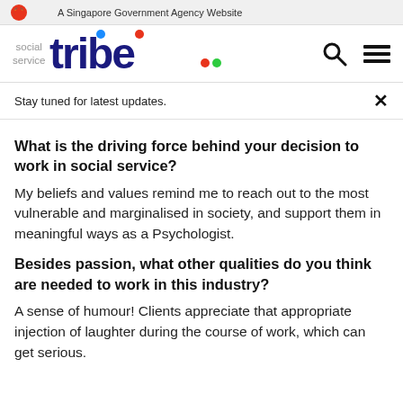A Singapore Government Agency Website
[Figure (logo): Social Service Tribe logo with search and menu icons]
Stay tuned for latest updates.
What is the driving force behind your decision to work in social service?
My beliefs and values remind me to reach out to the most vulnerable and marginalised in society, and support them in meaningful ways as a Psychologist.
Besides passion, what other qualities do you think are needed to work in this industry?
A sense of humour! Clients appreciate that appropriate injection of laughter during the course of work, which can get serious.